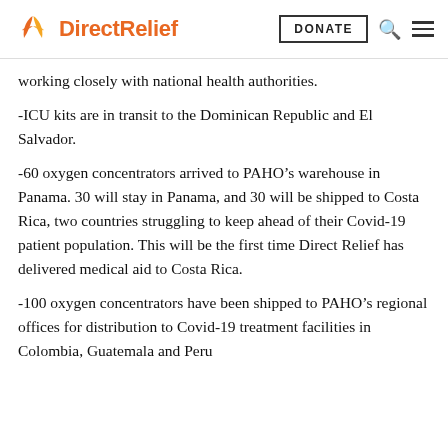Direct Relief | DONATE | Search | Menu
working closely with national health authorities.
-ICU kits are in transit to the Dominican Republic and El Salvador.
-60 oxygen concentrators arrived to PAHO’s warehouse in Panama. 30 will stay in Panama, and 30 will be shipped to Costa Rica, two countries struggling to keep ahead of their Covid-19 patient population. This will be the first time Direct Relief has delivered medical aid to Costa Rica.
-100 oxygen concentrators have been shipped to PAHO’s regional offices for distribution to Covid-19 treatment facilities in Colombia, Guatemala and Peru